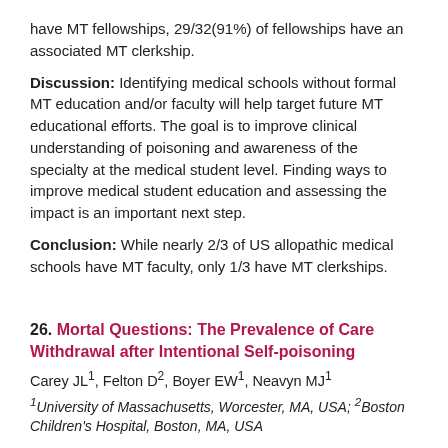have MT fellowships, 29/32(91%) of fellowships have an associated MT clerkship.
Discussion: Identifying medical schools without formal MT education and/or faculty will help target future MT educational efforts. The goal is to improve clinical understanding of poisoning and awareness of the specialty at the medical student level. Finding ways to improve medical student education and assessing the impact is an important next step.
Conclusion: While nearly 2/3 of US allopathic medical schools have MT faculty, only 1/3 have MT clerkships.
26. Mortal Questions: The Prevalence of Care Withdrawal after Intentional Self-poisoning
Carey JL1, Felton D2, Boyer EW1, Neavyn MJ1
1University of Massachusetts, Worcester, MA, USA; 2Boston Children's Hospital, Boston, MA, USA
Background: Suicidal patients often refuse life-saving care, but